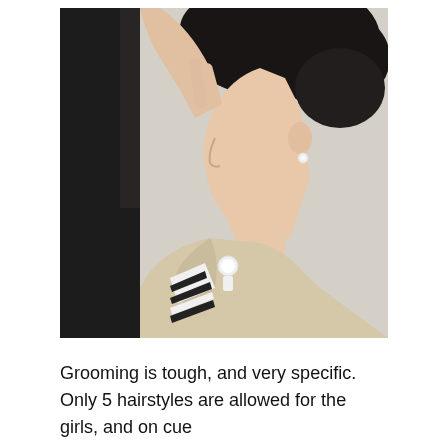[Figure (photo): Close-up profile photo of an Asian woman with dark hair pulled back, wearing a beige/cream blazer with a small badge/pin on the lapel, a pearl stud earring visible, and a black and white striped garment underneath. She has her hand raised near her face.]
Grooming is tough, and very specific. Only 5 hairstyles are allowed for the girls, and on cue